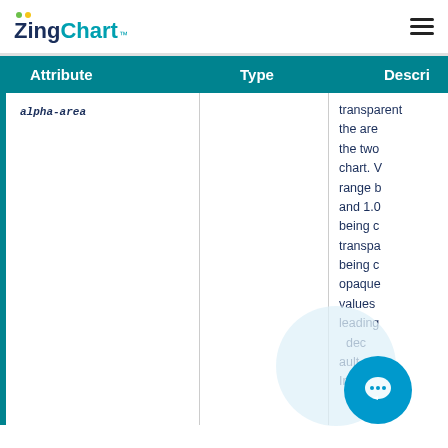ZingChart™ [hamburger menu]
| Attribute | Type | Descri... |
| --- | --- | --- |
| alpha-area (truncated) |  | transparent the area the two chart. W range b and 1.0 being c transpa being c opaque values leading dec ault Introdu... |